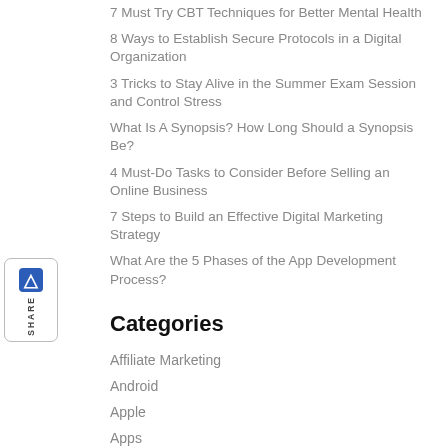7 Must Try CBT Techniques for Better Mental Health
8 Ways to Establish Secure Protocols in a Digital Organization
3 Tricks to Stay Alive in the Summer Exam Session and Control Stress
What Is A Synopsis? How Long Should a Synopsis Be?
4 Must-Do Tasks to Consider Before Selling an Online Business
7 Steps to Build an Effective Digital Marketing Strategy
What Are the 5 Phases of the App Development Process?
Categories
Affiliate Marketing
Android
Apple
Apps
Blog
Blogging
Business